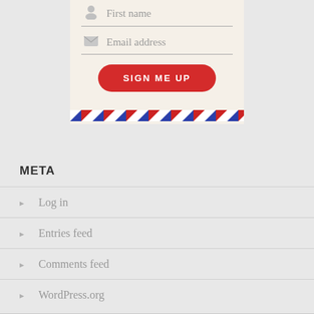[Figure (screenshot): Email signup form widget with First name field, Email address field, and SIGN ME UP button on beige background with airmail stripe at bottom]
META
Log in
Entries feed
Comments feed
WordPress.org